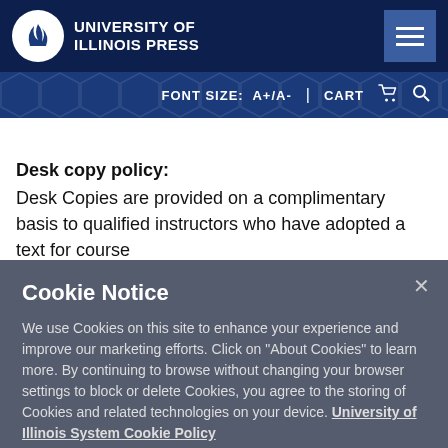[Figure (logo): University of Illinois Press logo with circular emblem and text]
FONT SIZE: A+/A-   |   CART   🔍
Desk copy policy:
Desk Copies are provided on a complimentary basis to qualified instructors who have adopted a text for course
Cookie Notice
We use Cookies on this site to enhance your experience and improve our marketing efforts. Click on "About Cookies" to learn more. By continuing to browse without changing your browser settings to block or delete Cookies, you agree to the storing of Cookies and related technologies on your device. University of Illinois System Cookie Policy